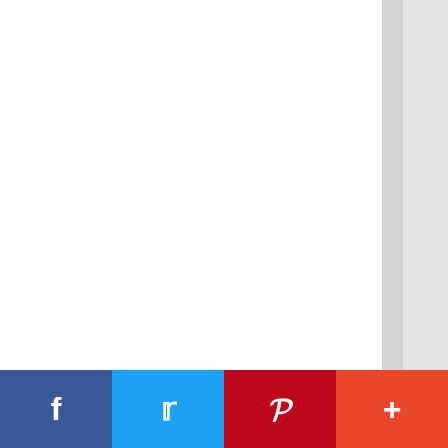Second Verse
When was Malinda knew how drive blues She'd of Joe quickly Where could her sweet play ragtime melody Then content she would be music
f  t  P  +